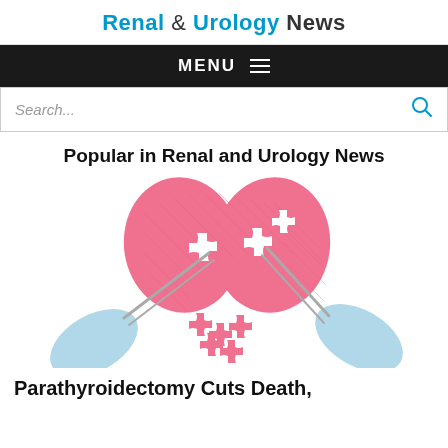Renal & Urology News
MENU
Search...
Popular in Renal and Urology News
[Figure (illustration): Medical illustration showing blue-gloved hands using surgical instruments to remove puzzle pieces from a pink thyroid gland shape, with puzzle pieces fallen below]
Parathyroidectomy Cuts Death, Cardiovascular Events Risk in...